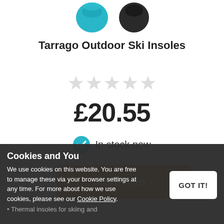[Figure (photo): Two product images of Tarrago Outdoor Ski Insoles — one in teal/blue color and one in black/dark color, partially cropped at top of page]
Tarrago Outdoor Ski Insoles
[Figure (other): Five empty star rating icons (no fill), indicating no reviews yet]
£20.55
In stock now
More Info >
Cookies and You
We use cookies on this website. You are free to manage these via your browser settings at any time. For more about how we use cookies, please see our Cookie Policy.
GOT IT!
Thermal insoles for skiing and snowboarding